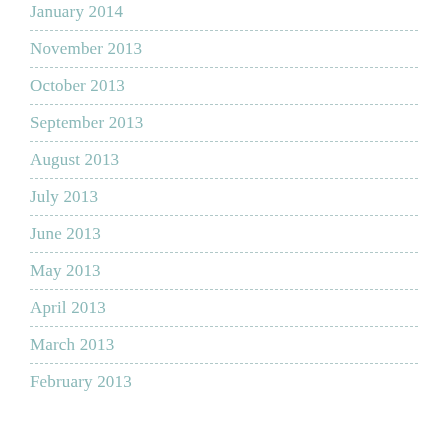January 2014
November 2013
October 2013
September 2013
August 2013
July 2013
June 2013
May 2013
April 2013
March 2013
February 2013